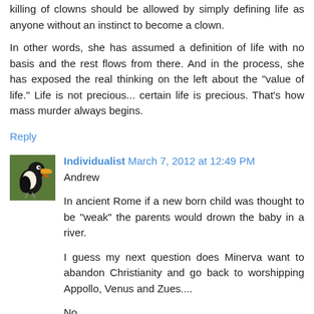killing of clowns should be allowed by simply defining life as anyone without an instinct to become a clown.
In other words, she has assumed a definition of life with no basis and the rest flows from there. And in the process, she has exposed the real thinking on the left about the "value of life." Life is not precious... certain life is precious. That's how mass murder always begins.
Reply
Individualist March 7, 2012 at 12:49 PM
Andrew
In ancient Rome if a new born child was thought to be "weak" the parents would drown the baby in a river.
I guess my next question does Minerva want to abandon Christianity and go back to worshipping Appollo, Venus and Zues....
No....